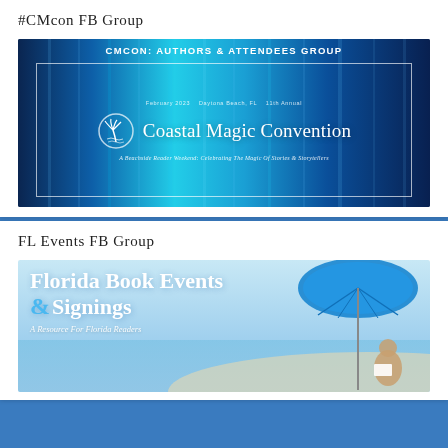#CMCon FB Group
[Figure (illustration): Coastal Magic Convention banner: CMCON: AUTHORS & ATTENDEES GROUP header, with Coastal Magic Convention logo featuring a palm tree in a circle, tagline 'A Beachside Reader Weekend: Celebrating The Magic Of Stories & Storytellers', February 2023, Daytona Beach FL, 11th Annual]
FL Events FB Group
[Figure (illustration): Florida Book Events & Signings banner: text reads 'Florida Book Events & Signings - A Resource For Florida Readers' with beach scene showing person reading under blue umbrella]